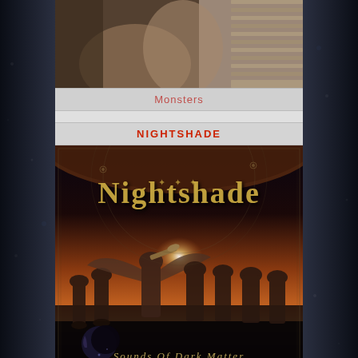[Figure (photo): Partial view of a black and white photo showing a hand and window blinds, appearing as the bottom portion of an image above]
Monsters
NIGHTSHADE
[Figure (illustration): Album cover for Nightshade - Sounds of Dark Matter. Dark fantasy illustration showing robed angelic figures with wings against a dramatic orange and black sky with planet, featuring the stylized Nightshade logo in gold gothic lettering at top and 'Sounds of Dark Matter' text at bottom.]